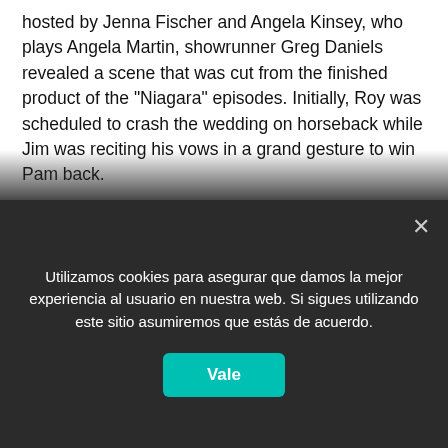hosted by Jenna Fischer and Angela Kinsey, who plays Angela Martin, showrunner Greg Daniels revealed a scene that was cut from the finished product of the "Niagara" episodes. Initially, Roy was scheduled to crash the wedding on horseback while Jim was reciting his vows in a grand gesture to win Pam back.
"And it just goes terribly," said Daniels. "This was a card that we had on the board early on about, when those things happen in romantic comedy movies, they usually work. How awkward is it when it doesn't work and nobody wanted it and nobody was rooting for it?" After Roy's failed attempt, Dwight Schrute (Rainn Wilson) would have stolen the horse
Utilizamos cookies para asegurar que damos la mejor experiencia al usuario en nuestra web. Si sigues utilizando este sitio asumiremos que estás de acuerdo.
Vale